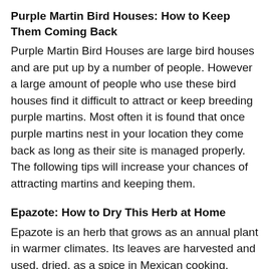Purple Martin Bird Houses: How to Keep Them Coming Back
Purple Martin Bird Houses are large bird houses and are put up by a number of people. However a large amount of people who use these bird houses find it difficult to attract or keep breeding purple martins. Most often it is found that once purple martins nest in your location they come back as long as their site is managed properly. The following tips will increase your chances of attracting martins and keeping them.
Epazote: How to Dry This Herb at Home
Epazote is an herb that grows as an annual plant in warmer climates. Its leaves are harvested and used, dried, as a spice in Mexican cooking. Epazote has the advantage of aiding in the digestion of beans, making it a popular addition to dishes such as refried beans.